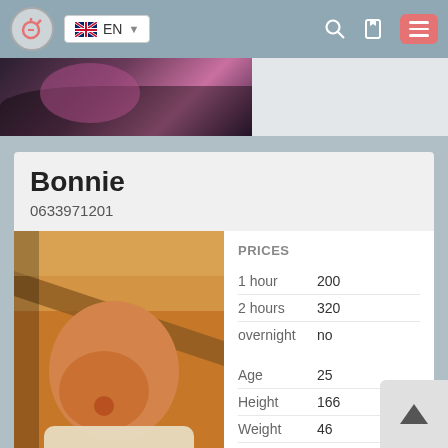EN
[Figure (screenshot): Partial photo strip at top of page showing a person with pink/dark tones]
Bonnie
0633971201
[Figure (photo): Profile photo showing a person in warm orange/amber tones]
|  |  |
| --- | --- |
| PRICES |  |
| 1 hour | 200 |
| 2 hours | 320 |
| overnight | no |
| Age | 25 |
| Height | 166 |
| Weight | 46 |
| Breast | 2 |